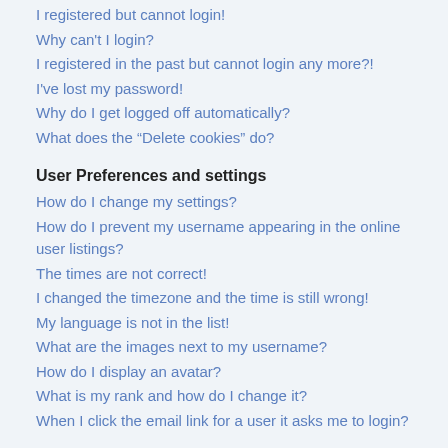I registered but cannot login!
Why can't I login?
I registered in the past but cannot login any more?!
I've lost my password!
Why do I get logged off automatically?
What does the “Delete cookies” do?
User Preferences and settings
How do I change my settings?
How do I prevent my username appearing in the online user listings?
The times are not correct!
I changed the timezone and the time is still wrong!
My language is not in the list!
What are the images next to my username?
How do I display an avatar?
What is my rank and how do I change it?
When I click the email link for a user it asks me to login?
Posting Issues
How do I create a new topic or post a reply?
How do I edit or delete a post?